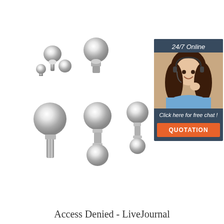[Figure (photo): Product page showing multiple chrome/stainless steel ball hitch hardware pieces arranged in a 2x2 grid layout on white background, with a customer service chat widget overlay on the right side showing a smiling woman with headset, '24/7 Online' header, 'Click here for free chat!' text, and orange 'QUOTATION' button]
Access Denied - LiveJournal